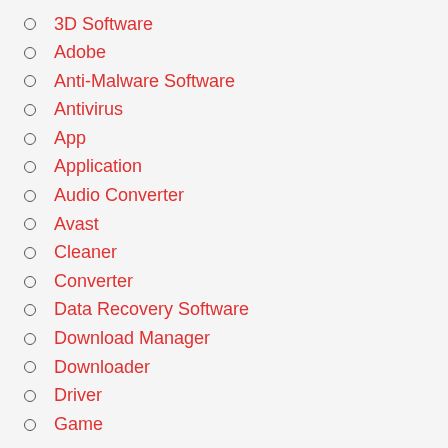3D Software
Adobe
Anti-Malware Software
Antivirus
App
Application
Audio Converter
Avast
Cleaner
Converter
Data Recovery Software
Download Manager
Downloader
Driver
Game